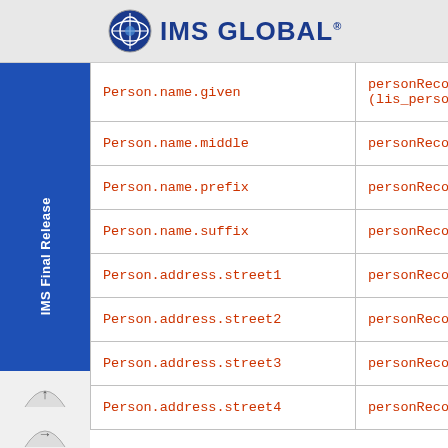IMS GLOBAL
| Field | XPath |
| --- | --- |
| Person.name.given | personRecord/pers
(lis_person.name_g |
| Person.name.middle | personRecord/pers |
| Person.name.prefix | personRecord/pers |
| Person.name.suffix | personRecord/pers |
| Person.address.street1 | personRecord/pers |
| Person.address.street2 | personRecord/pers |
| Person.address.street3 | personRecord/pers |
| Person.address.street4 | personRecord/pers |